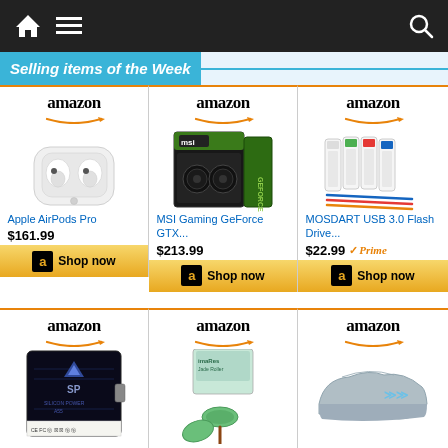[Figure (screenshot): Navigation bar with home icon, hamburger menu, and search icon on dark background]
Selling items of the Week
[Figure (photo): Apple AirPods Pro with Amazon logo above]
Apple AirPods Pro
$161.99
[Figure (photo): MSI Gaming GeForce GTX graphics card with Amazon logo above]
MSI Gaming GeForce GTX...
$213.99
[Figure (photo): MOSDART USB 3.0 Flash Drives with Amazon logo above]
MOSDART USB 3.0 Flash Drive...
$22.99
[Figure (photo): SP Silicon Power SSD with Amazon logo]
[Figure (photo): Jade roller facial tool with Amazon logo]
[Figure (photo): Car cover with Amazon logo]